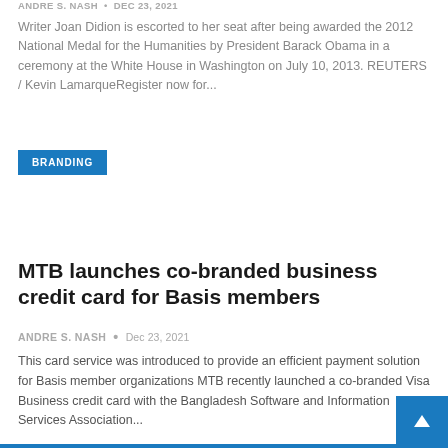ANDRE S. NASH  •  Dec 23, 2021
Writer Joan Didion is escorted to her seat after being awarded the 2012 National Medal for the Humanities by President Barack Obama in a ceremony at the White House in Washington on July 10, 2013. REUTERS / Kevin LamarqueRegister now for...
BRANDING
MTB launches co-branded business credit card for Basis members
ANDRE S. NASH  •  Dec 23, 2021
This card service was introduced to provide an efficient payment solution for Basis member organizations MTB recently launched a co-branded Visa Business credit card with the Bangladesh Software and Information Services Association...